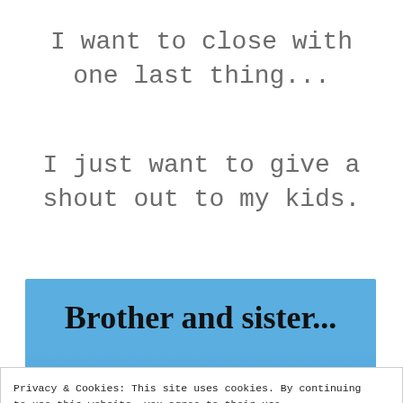I want to close with one last thing...
I just want to give a shout out to my kids.
[Figure (illustration): Image with blue sky background, text reading 'Brother and sister...' and partially visible 'Together as friends']
Privacy & Cookies: This site uses cookies. By continuing to use this website, you agree to their use.
To find out more, including how to control cookies, see here: Cookie Policy
Close and accept